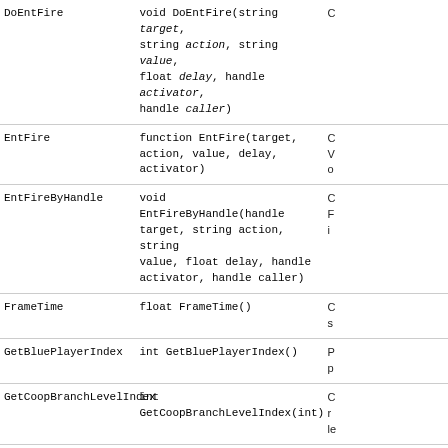| Name | Signature | Description |
| --- | --- | --- |
| DoEntFire | void DoEntFire(string target, string action, string value, float delay, handle activator, handle caller) | C... |
| EntFire | function EntFire(target, action, value, delay, activator) | C V o... |
| EntFireByHandle | void EntFireByHandle(handle target, string action, string value, float delay, handle activator, handle caller) | C F i... |
| FrameTime | float FrameTime() | C s... |
| GetBluePlayerIndex | int GetBluePlayerIndex() | P p... |
| GetCoopBranchLevelIndex | int GetCoopBranchLevelIndex(int) | C r l... |
| GetCoopSectionIndex | int GetCoopSectionIndex() | S h... |
| GetDeveloperLevel | int GetDeveloperLevel() | G... |
| GetHighestActiveBranch | int GetHighestActiveBranch() | R s... |